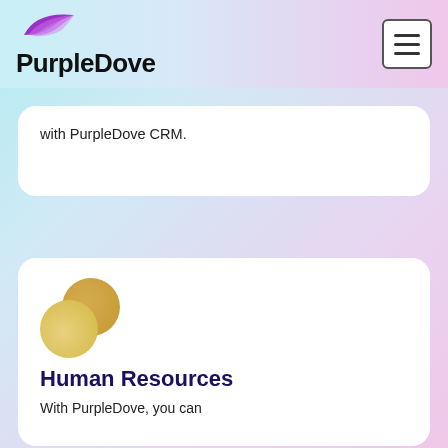PurpleDove
with PurpleDove CRM.
[Figure (illustration): Two overlapping golden/yellow circles forming an icon for Human Resources]
Human Resources
With PurpleDove, you can